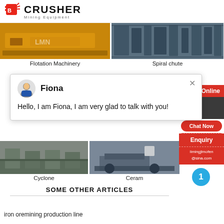[Figure (logo): Crusher Mining Equipment logo with red shopping bag icon and bold text CRUSHER, subtitle Mining Equipment]
[Figure (photo): Yellow mining flotation machinery equipment]
Flotation Machinery
[Figure (photo): Industrial spiral chute processing plant]
Spiral chute
24Hrs Online
[Figure (screenshot): Chat popup with avatar of Fiona, a customer support agent, saying Hello, I am Fiona, I am very glad to talk with you!]
Fiona
Hello, I am Fiona, I am very glad to talk with you!
[Figure (photo): Cyclone industrial equipment building exterior]
Cyclone
[Figure (photo): Ceramic industrial equipment on truck]
Ceram
Need & sug
Chat Now
Enquiry
limingjlmofen@sina.com
SOME OTHER ARTICLES
iron oremining production line